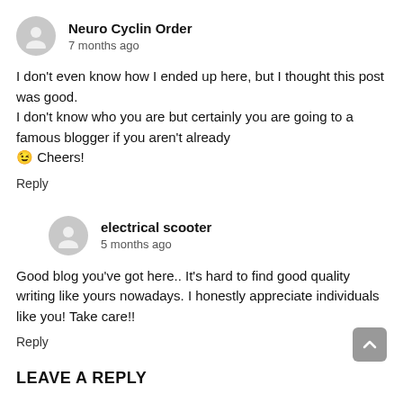Neuro Cyclin Order
7 months ago
I don't even know how I ended up here, but I thought this post was good.
I don't know who you are but certainly you are going to a famous blogger if you aren't already
😉 Cheers!
Reply
electrical scooter
5 months ago
Good blog you've got here.. It's hard to find good quality writing like yours nowadays. I honestly appreciate individuals like you! Take care!!
Reply
LEAVE A REPLY